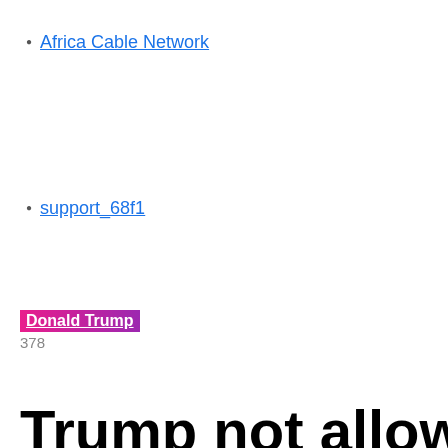Africa Cable Network
support_68f1
Donald Trump
378
Trump not allowed to